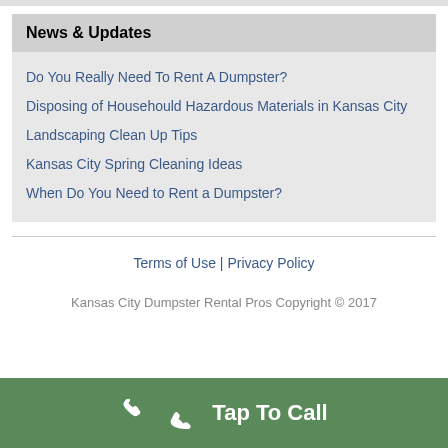News & Updates
Do You Really Need To Rent A Dumpster?
Disposing of Househould Hazardous Materials in Kansas City
Landscaping Clean Up Tips
Kansas City Spring Cleaning Ideas
When Do You Need to Rent a Dumpster?
Terms of Use | Privacy Policy
Kansas City Dumpster Rental Pros Copyright © 2017
Tap To Call